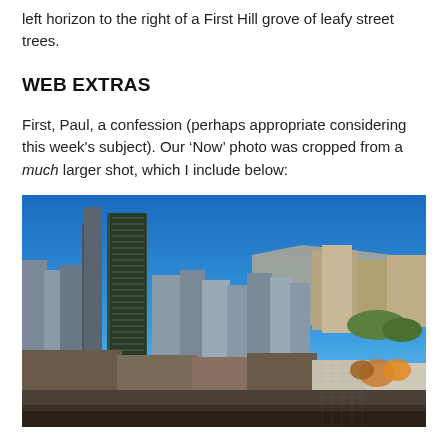left horizon to the right of a First Hill grove of leafy street trees.
WEB EXTRAS
First, Paul, a confession (perhaps appropriate considering this week's subject). Our ‘Now’ photo was cropped from a much larger shot, which I include below:
[Figure (photo): Aerial/elevated view of Seattle city skyline showing tall skyscrapers including a prominent dark glass tower on the left, lower downtown buildings in the center, and First Hill with older masonry buildings on the right. Blue sky, autumn trees visible in the lower right area.]